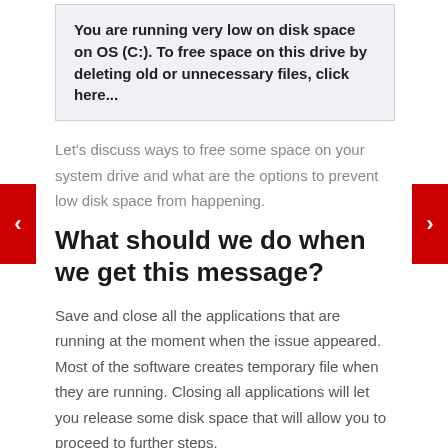[Figure (screenshot): Windows low disk space notification box: 'You are running very low on disk space on OS (C:). To free space on this drive by deleting old or unnecessary files, click here...']
Let’s discuss ways to free some space on your system drive and what are the options to prevent low disk space from happening.
What should we do when we get this message?
Save and close all the applications that are running at the moment when the issue appeared. Most of the software creates temporary file when they are running. Closing all applications will let you release some disk space that will allow you to proceed to further steps.
First of all let’s look into your recycle bin. Files that were moved to recycle bin are actually not deleted. They are still using your disk space. You might want to empty your recycle bin. Just right...